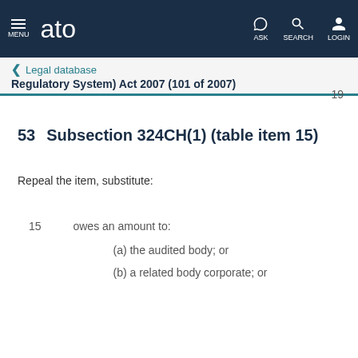ato — Legal database — Regulatory System) Act 2007 (101 of 2007)
19
53    Subsection 324CH(1) (table item 15)
Repeal the item, substitute:
| Item | Content |
| --- | --- |
| 15 | owes an amount to: |
|  | (a) the audited body; or |
|  | (b) a related body corporate; or |